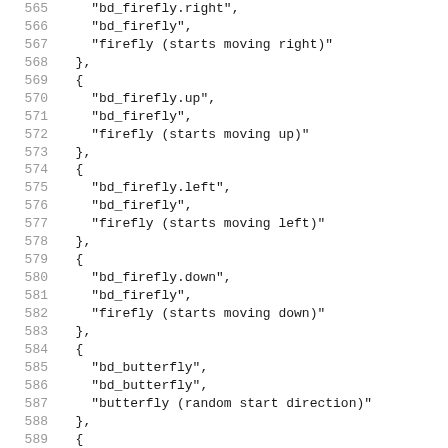Code listing lines 565-597 showing array entries with bd_firefly, bd_butterfly, and player_1 entries
565     "bd_firefly.right",
566     "bd_firefly",
567     "firefly (starts moving right)"
568   },
569   {
570     "bd_firefly.up",
571     "bd_firefly",
572     "firefly (starts moving up)"
573   },
574   {
575     "bd_firefly.left",
576     "bd_firefly",
577     "firefly (starts moving left)"
578   },
579   {
580     "bd_firefly.down",
581     "bd_firefly",
582     "firefly (starts moving down)"
583   },
584   {
585     "bd_butterfly",
586     "bd_butterfly",
587     "butterfly (random start direction)"
588   },
589   {
590     "bd_firefly",
591     "bd_firefly",
592     "firefly (random start direction)"
593   },
594   {
595     "player_1",
596     "player",
597     "player 1"